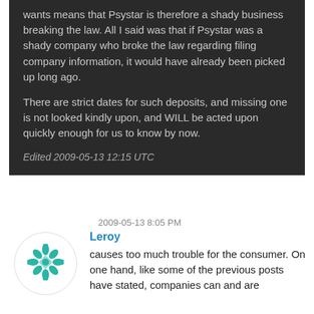wants means that Psystar is therefore a shady business breaking the law. All I said was that if Psystar was a shady company who broke the law regarding filing company information, it would have already been picked up long ago.

There are strict dates for such deposits, and missing one is not looked kindly upon, and WILL be acted upon quickly enough for us to know by now.

Edited 2009-05-13 12:15 UTC
2009-05-13 8:05 PM
Leroy
[Figure (illustration): Circular avatar icon with teal/green geometric snowflake/mandala pattern on white background]
causes too much trouble for the consumer. On one hand, like some of the previous posts have stated, companies can and are